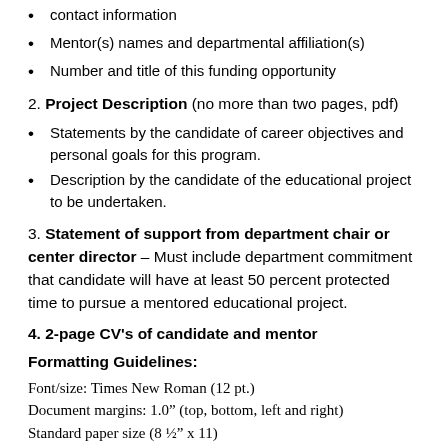contact information
Mentor(s) names and departmental affiliation(s)
Number and title of this funding opportunity
2. Project Description (no more than two pages, pdf)
Statements by the candidate of career objectives and personal goals for this program.
Description by the candidate of the educational project to be undertaken.
3. Statement of support from department chair or center director - Must include department commitment that candidate will have at least 50 percent protected time to pursue a mentored educational project.
4. 2-page CV's of candidate and mentor
Formatting Guidelines:
Font/size: Times New Roman (12 pt.)
Document margins: 1.0" (top, bottom, left and right)
Standard paper size (8 ½" x 11)